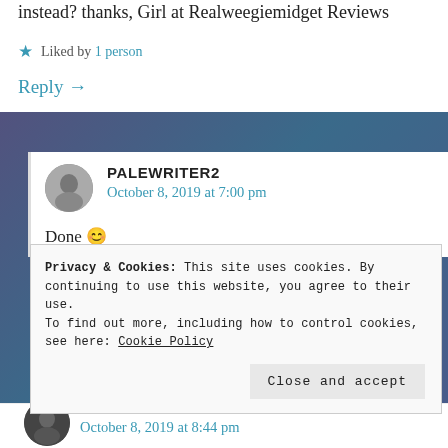instead? thanks, Girl at Realweegiemidget Reviews
Liked by 1 person
Reply →
PALEWRITER2
October 8, 2019 at 7:00 pm
Done 😊
Privacy & Cookies: This site uses cookies. By continuing to use this website, you agree to their use.
To find out more, including how to control cookies, see here: Cookie Policy
Close and accept
October 8, 2019 at 8:44 pm